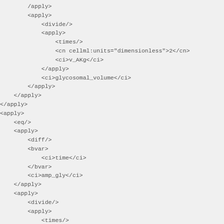XML/MathML CellML code snippet showing apply, divide, times, eq, diff, bvar, and minus elements